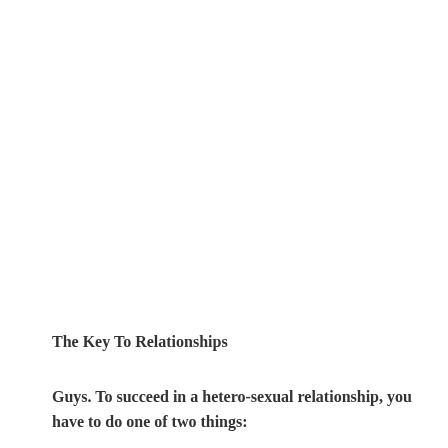The Key To Relationships
Guys. To succeed in a hetero-sexual relationship, you have to do one of two things: